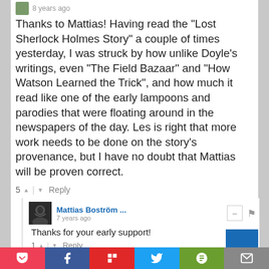8 years ago
Thanks to Mattias! Having read the "Lost Sherlock Holmes Story" a couple of times yesterday, I was struck by how unlike Doyle's writings, even "The Field Bazaar" and "How Watson Learned the Trick", and how much it read like one of the early lampoons and parodies that were floating around in the newspapers of the day. Les is right that more work needs to be done on the story's provenance, but I have no doubt that Mattias will be proven correct.
5 ^ | v Reply
Mattias Boström ... 7 years ago
Thanks for your early support!
1 ^ | v Reply
Leslie S Klinger 8 years ago